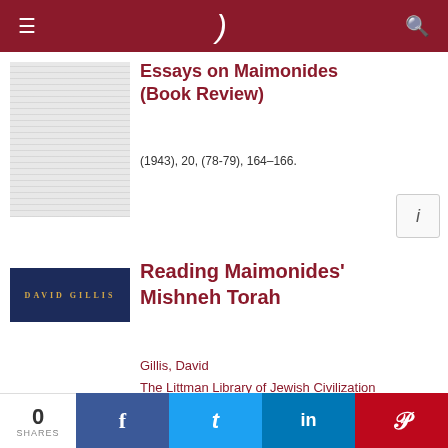≡  )  🔍
Essays on Maimonides (Book Review)
(1943), 20, (78-79), 164–166.
Reading Maimonides' Mishneh Torah
Gillis, David
The Littman Library of Jewish Civilization
January 8th, 2015
0 SHARES  f  t  in  p